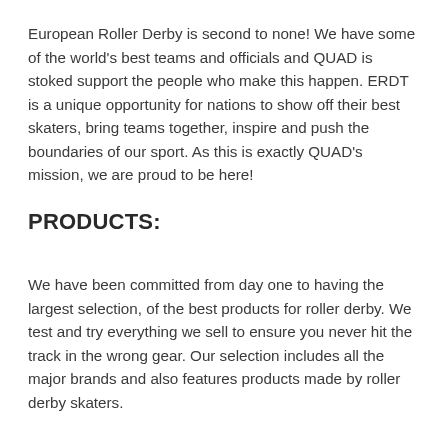European Roller Derby is second to none! We have some of the world's best teams and officials and QUAD is stoked support the people who make this happen. ERDT is a unique opportunity for nations to show off their best skaters, bring teams together, inspire and push the boundaries of our sport. As this is exactly QUAD's mission, we are proud to be here!
PRODUCTS:
We have been committed from day one to having the largest selection, of the best products for roller derby. We test and try everything we sell to ensure you never hit the track in the wrong gear. Our selection includes all the major brands and also features products made by roller derby skaters.